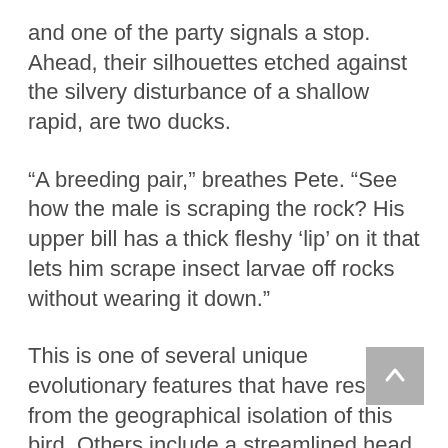and one of the party signals a stop. Ahead, their silhouettes etched against the silvery disturbance of a shallow rapid, are two ducks.
“A breeding pair,” breathes Pete. “See how the male is scraping the rock? His upper bill has a thick fleshy ‘lip’ on it that lets him scrape insect larvae off rocks without wearing it down.”
This is one of several unique evolutionary features that have resulted from the geographical isolation of this bird. Others include a streamlined head and large webbed feet that have helped the whio to feed in fast moving water and to